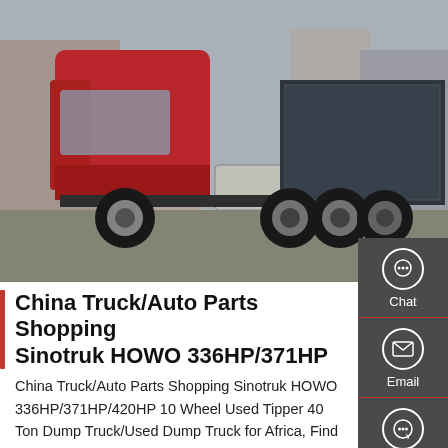[Figure (photo): Side view of a red Sinotruk HOWO heavy-duty tractor truck parked in an industrial yard with buildings in the background. The truck is a 6x4 or 8x4 configuration with large fuel tanks and multiple rear axles.]
China Truck/Auto Parts Shopping Sinotruk HOWO 336HP/371HP
China Truck/Auto Parts Shopping Sinotruk HOWO 336HP/371HP/420HP 10 Wheel Used Tipper 40 Ton Dump Truck/Used Dump Truck for Africa, Find details about China Dump Truck, Tipper Truck from Truck/Auto Parts Shopping Sinotruk HOWO